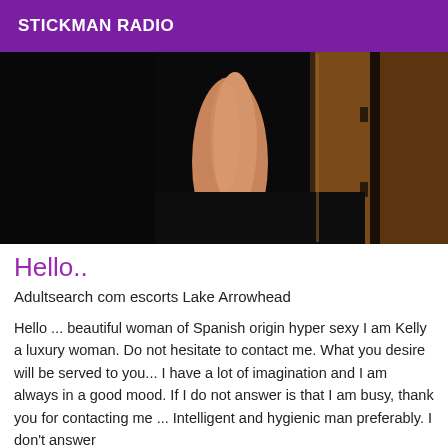STICKMAN RADIO
[Figure (photo): Partial photo of a woman in black dress and heels, dark background with warm-toned door/wall visible on the right]
Hello..
Adultsearch com escorts Lake Arrowhead
Hello ... beautiful woman of Spanish origin hyper sexy I am Kelly a luxury woman. Do not hesitate to contact me. What you desire will be served to you... I have a lot of imagination and I am always in a good mood. If I do not answer is that I am busy, thank you for contacting me ... Intelligent and hygienic man preferably. I don't answer